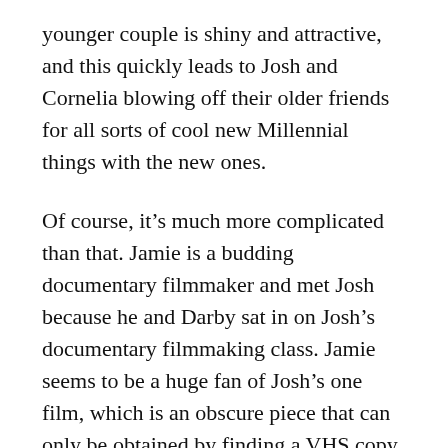younger couple is shiny and attractive, and this quickly leads to Josh and Cornelia blowing off their older friends for all sorts of cool new Millennial things with the new ones.
Of course, it's much more complicated than that. Jamie is a budding documentary filmmaker and met Josh because he and Darby sat in on Josh's documentary filmmaking class. Jamie seems to be a huge fan of Josh's one film, which is an obscure piece that can only be obtained by finding a VHS copy on eBay. Jamie's “documentary” career is really him posting random crap to Facebook and YouTube, but Josh seems to be eager to mentor him, especially because he also feels cool for once (and even starts